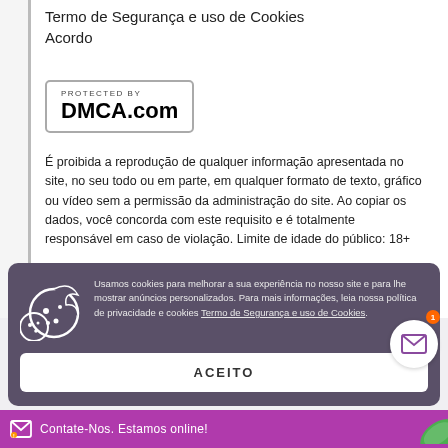Termo de Segurança e uso de Cookies Acordo
[Figure (logo): DMCA.com Protected By badge — rectangular border with 'PROTECTED BY' text above 'DMCA.com' in bold]
É proibida a reprodução de qualquer informação apresentada no site, no seu todo ou em parte, em qualquer formato de texto, gráfico ou vídeo sem a permissão da administração do site. Ao copiar os dados, você concorda com este requisito e é totalmente responsável em caso de violação. Limite de idade do público: 18+
Usamos cookies para melhorar a sua experiência no nosso site e para lhe mostrar anúncios personalizados. Para mais informações, leia nossa política de privacidade e cookies Termo de Segurança e uso de Cookies.
ACEITO
Contate-Nos. Estamos online!